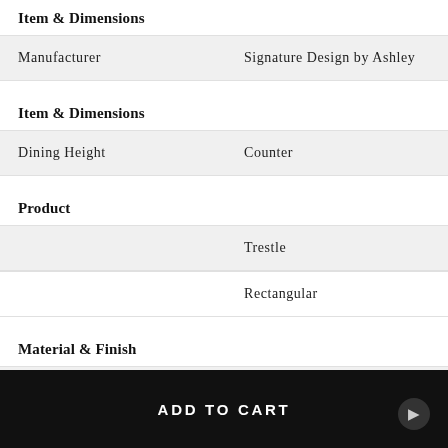Item & Dimensions
|  |  |
| --- | --- |
| Manufacturer | Signature Design by Ashley |
Item & Dimensions
|  |  |
| --- | --- |
| Dining Height | Counter |
Product
|  |  |
| --- | --- |
|  | Trestle |
|  | Rectangular |
Material & Finish
|  |  |
| --- | --- |
| Composition | Wood Veneers & Solids |
| Composition | Engineered Wood |
ADD TO CART